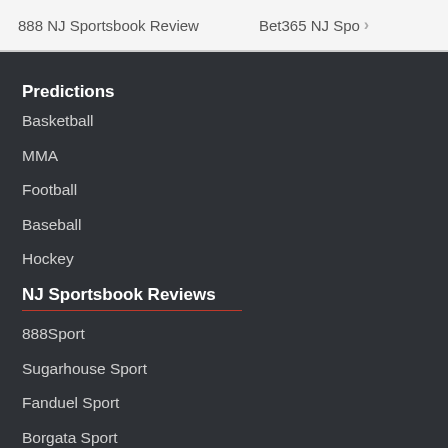888 NJ Sportsbook Review   Bet365 NJ Spo >
Predictions
Basketball
MMA
Football
Baseball
Hockey
NJ Sportsbook Reviews
888Sport
Sugarhouse Sport
Fanduel Sport
Borgata Sport
Betmgm Sport